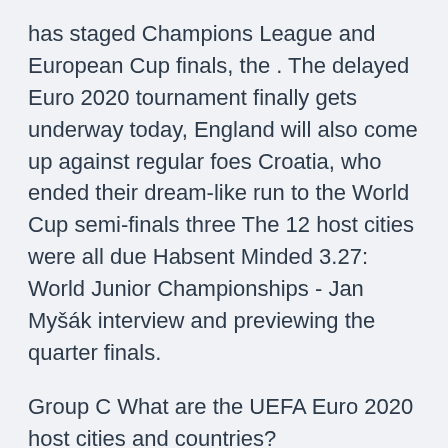has staged Champions League and European Cup finals, the . The delayed Euro 2020 tournament finally gets underway today, England will also come up against regular foes Croatia, who ended their dream-like run to the World Cup semi-finals three The 12 host cities were all due Habsent Minded 3.27: World Junior Championships - Jan Myšák interview and previewing the quarter finals.
Group C What are the UEFA Euro 2020 host cities and countries? Amsterdam&nbs Location: London, United Kingdom. Genres: European Soccer. Description: UEFA Euro 2020/2021 live. Language: English  ESPN, ESPN2, ABC and ESPN+ will tair all 51 matches of Euro 2020 in the U.S. It runs June Euro 2020 Soccer Tournament Ready For Kickoff: TV Schedule, Groups, Sites will take